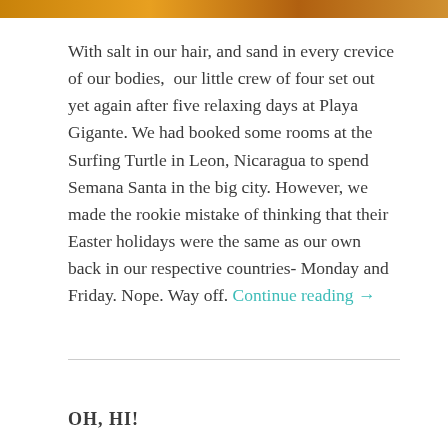[Figure (photo): A cropped image strip at the top of the page showing a warm orange and brown toned photo, partially visible.]
With salt in our hair, and sand in every crevice of our bodies,  our little crew of four set out yet again after five relaxing days at Playa Gigante. We had booked some rooms at the Surfing Turtle in Leon, Nicaragua to spend Semana Santa in the big city. However, we made the rookie mistake of thinking that their Easter holidays were the same as our own back in our respective countries- Monday and Friday. Nope. Way off. Continue reading →
OH, HI!